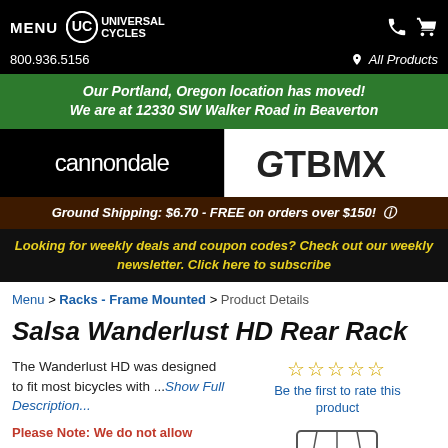MENU  UC UNIVERSAL CYCLES  800.936.5156  All Products
Our Portland, Oregon location has moved! We are at 12330 SW Walker Road in Beaverton
[Figure (logo): Cannondale logo (white text on black) and GTBMX logo side by side]
Ground Shipping: $6.70 - FREE on orders over $150!
Looking for weekly deals and coupon codes? Check out our weekly newsletter. Click here to subscribe
Menu > Racks - Frame Mounted > Product Details
Salsa Wanderlust HD Rear Rack
The Wanderlust HD was designed to fit most bicycles with ...Show Full Description...
Be the first to rate this product
Please Note: We do not allow coupons on this product.
[Figure (photo): Partial image of a rear bike rack at bottom right]